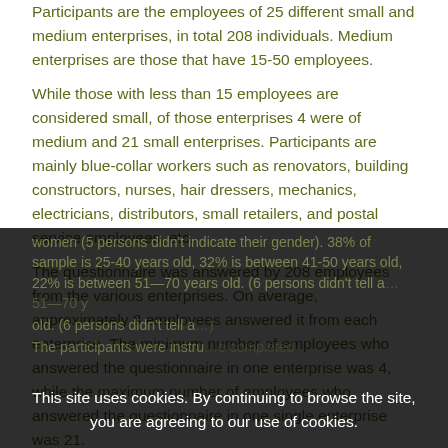Participants are the employees of 25 different small and medium enterprises, in total 208 individuals. Medium enterprises are those that have 15-50 employees. While those with less than 15 employees are considered small, of those enterprises 4 were of medium and 21 small enterprises. Participants are mainly blue-collar workers such as renovators, building constructors, nurses, hair dressers, mechanics, electricians, distributors, small retailers, and postal service employees, etc. The questionnaire was answered by 208 employees from the various enterprises. On average, approximately 8 employees answered it from each enterprise. The minimum number of employees who answered the questionnaire in one enterprise was 4, while the maximum number of employees who answered the questionnaire in one single enterprise was 21. 71% of the 208 participants are men, and 29% of them are women (5 persons didn't indicate their gender). 38% of sample is 25-40 years old, 32% is between 41-50 years old, 22% is between 51-70 years old. (6 persons didn't tell age). The participants were instructed to completed...